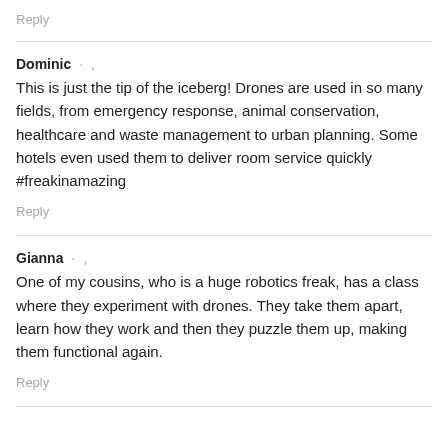Reply
Dominic · ,
This is just the tip of the iceberg! Drones are used in so many fields, from emergency response, animal conservation, healthcare and waste management to urban planning. Some hotels even used them to deliver room service quickly #freakinamazing
Reply
Gianna · ,
One of my cousins, who is a huge robotics freak, has a class where they experiment with drones. They take them apart, learn how they work and then they puzzle them up, making them functional again.
Reply